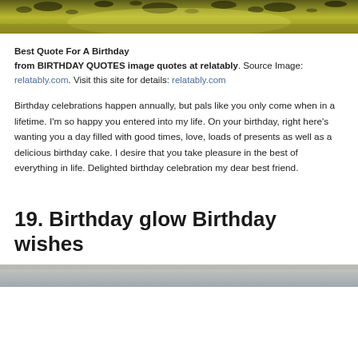[Figure (photo): Top portion of a photo showing a dark yellow-green textured background with dark splatters or droplets, partially cropped at top of page]
Best Quote For A Birthday
from BIRTHDAY QUOTES image quotes at relatably. Source Image: relatably.com. Visit this site for details: relatably.com
Birthday celebrations happen annually, but pals like you only come when in a lifetime. I'm so happy you entered into my life. On your birthday, right here's wanting you a day filled with good times, love, loads of presents as well as a delicious birthday cake. I desire that you take pleasure in the best of everything in life. Delighted birthday celebration my dear best friend.
19. Birthday glow Birthday wishes
[Figure (photo): Bottom edge of a photo showing a light sky or outdoor scene, partially cropped at bottom of page]